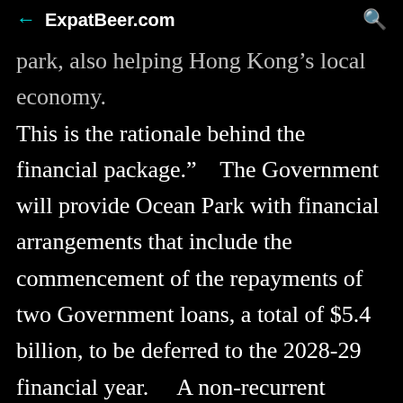← ExpatBeer.com 🔍
park, also helping Hong Kong's local economy. This is the rationale behind the financial package." The Government will provide Ocean Park with financial arrangements that include the commencement of the repayments of two Government loans, a total of $5.4 billion, to be deferred to the 2028-29 financial year. A non-recurrent funding of some $1.67 billion, which is equivalent to the one-year operation cost of Ocean Park, will be provided to help it meet the projected amount of cash shortage in the coming financial years, to mitigate the uncertainty on whether attendance recovery would take place as